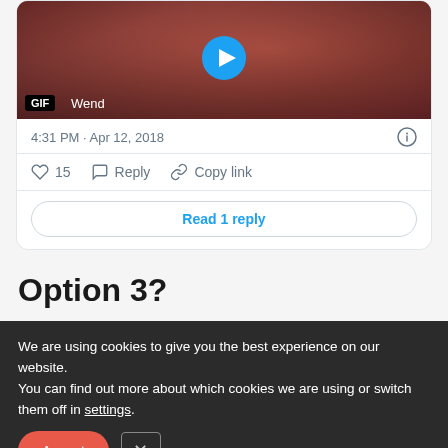[Figure (screenshot): A GIF thumbnail from a Twitter/X tweet showing a woman in a TV show setting with a play button overlay. Badge shows 'GIF' and partial text 'Wend' visible.]
4:31 PM · Apr 12, 2018
15  Reply  Copy link
Read 1 reply
Option 3?
We are using cookies to give you the best experience on our website.
You can find out more about which cookies we are using or switch them off in settings.
Accept  ×